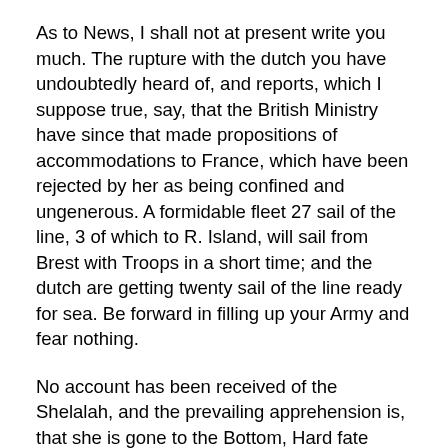As to News, I shall not at present write you much. The rupture with the dutch you have undoubtedly heard of, and reports, which I suppose true, say, that the British Ministry have since that made propositions of accommodations to France, which have been rejected by her as being confined and ungenerous. A formidable fleet 27 sail of the line, 3 of which to R. Island, will sail from Brest with Troops in a short time; and the dutch are getting twenty sail of the line ready for sea. Be forward in filling up your Army and fear nothing.
No account has been received of the Shelalah, and the prevailing apprehension is, that she is gone to the Bottom, Hard fate indeed and unexpected. Had I set off when my first plan I should have sailed in the Shelalah as she seemed the favorite ship, and the same opportunity was proposed to Col. Laurens.
L'Orient is a clean agreeable town, the streets straight but not in every direction and found by many to be...